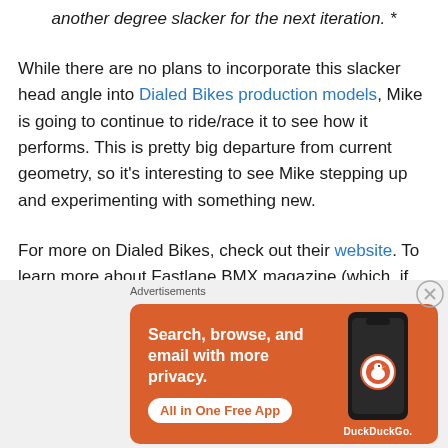another degree slacker for the next iteration. *
While there are no plans to incorporate this slacker head angle into Dialed Bikes production models, Mike is going to continue to ride/race it to see how it performs. This is pretty big departure from current geometry, so it's interesting to see Mike stepping up and experimenting with something new.
For more on Dialed Bikes, check out their website. To learn more about Fastlane BMX magazine (which, if you're into racing, is a must) click here.
[Figure (screenshot): DuckDuckGo advertisement banner with orange background. Text: 'Search, browse, and email with more privacy. All in One Free App' with DuckDuckGo logo and phone illustration.]